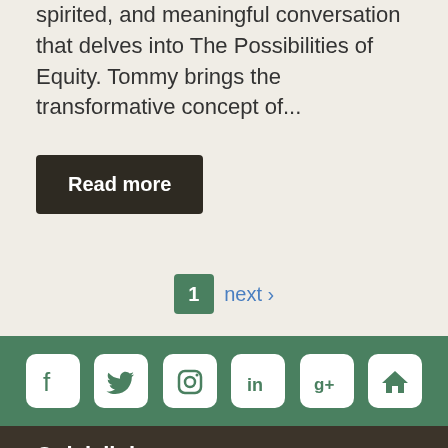Tommy engages participants in a thoughtful, interactive, spirited, and meaningful conversation that delves into The Possibilities of Equity. Tommy brings the transformative concept of...
Read more
1  next ›
[Figure (infographic): Social media icons row: Facebook, Twitter, Instagram, LinkedIn, Google+, Home on a green background bar]
Quick links
City Code
City Council
Commodities, services, consulting bids